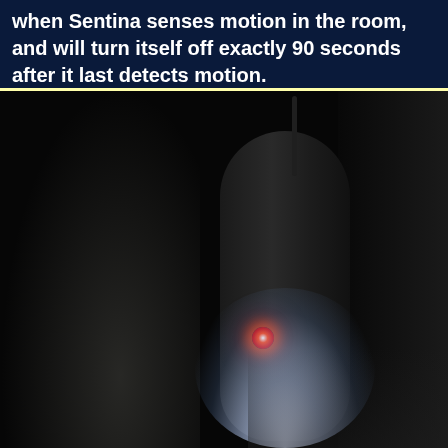when Sentina senses motion in the room, and will turn itself off exactly 90 seconds after it last detects motion.
[Figure (photo): A dark room photograph of a Sentina device. The device is a cylindrical/tubular dark unit with an antenna extending from the top. A red LED indicator light is visible on the front of the device, and a bright white light glows from the bottom portion of the device. The image is very dark with the device illuminated against a near-black background. The photo is framed with a pale yellow border on the top edge.]